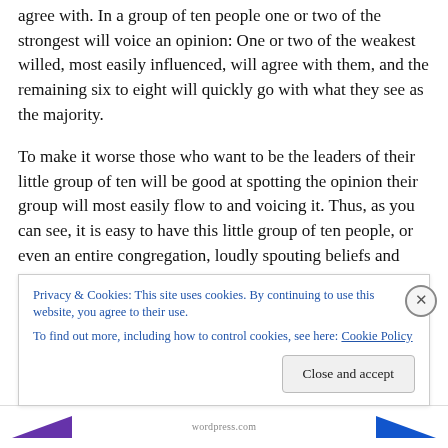agree with. In a group of ten people one or two of the strongest will voice an opinion: One or two of the weakest willed, most easily influenced, will agree with them, and the remaining six to eight will quickly go with what they see as the majority.
To make it worse those who want to be the leaders of their little group of ten will be good at spotting the opinion their group will most easily flow to and voicing it. Thus, as you can see, it is easy to have this little group of ten people, or even an entire congregation, loudly spouting beliefs and
Privacy & Cookies: This site uses cookies. By continuing to use this website, you agree to their use.
To find out more, including how to control cookies, see here: Cookie Policy